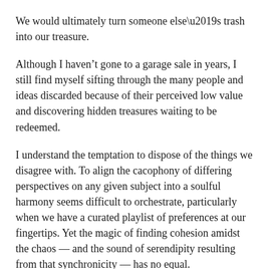We would ultimately turn someone else’s trash into our treasure.
Although I haven’t gone to a garage sale in years, I still find myself sifting through the many people and ideas discarded because of their perceived low value and discovering hidden treasures waiting to be redeemed.
I understand the temptation to dispose of the things we disagree with. To align the cacophony of differing perspectives on any given subject into a soulful harmony seems difficult to orchestrate, particularly when we have a curated playlist of preferences at our fingertips. Yet the magic of finding cohesion amidst the chaos — and the sound of serendipity resulting from that synchronicity — has no equal.
So why throw it all away when there is much to be created out of our shared humanity?